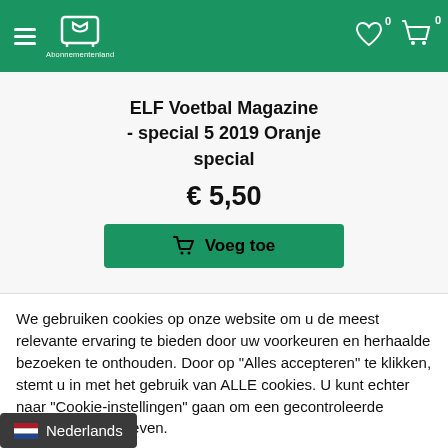Abonnementenland — navigation header with hamburger menu, logo, wishlist (0) and cart (0)
ELF Voetbal Magazine - special 5 2019 Oranje special
€ 5,50
Voeg toe
We gebruiken cookies op onze website om u de meest relevante ervaring te bieden door uw voorkeuren en herhaalde bezoeken te onthouden. Door op "Alles accepteren" te klikken, stemt u in met het gebruik van ALLE cookies. U kunt echter naar "Cookie-instellingen" gaan om een gecontroleerde toestemming te geven.
Cookie instellingen
Alles accepteren
Nederlands